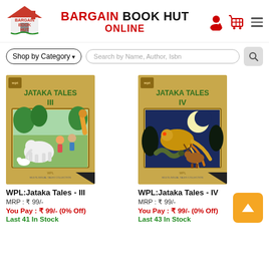BARGAIN BOOK HUT ONLINE
[Figure (logo): Bargain Book Hut logo with house icon]
Shop by Category  Search by Name, Author, Isbn
[Figure (photo): Book cover: WPL Jataka Tales III - golden cover with children and animals illustration]
[Figure (photo): Book cover: WPL Jataka Tales IV - golden cover with animals and moonlit night illustration]
WPL:Jataka Tales - III
MRP : ₹ 99/-
You Pay : ₹ 99/- (0% Off)
Last 41 In Stock
WPL:Jataka Tales - IV
MRP : ₹ 99/-
You Pay : ₹ 99/- (0% Off)
Last 43 In Stock